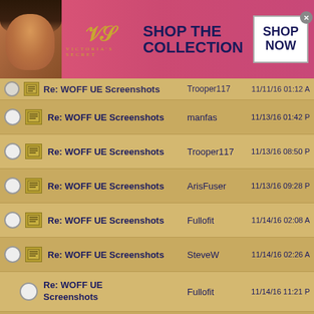[Figure (screenshot): Victoria's Secret advertisement banner at top: pink background with model, VS logo, 'SHOP THE COLLECTION' text and 'SHOP NOW' button]
| Select | Icon | Subject | Author | Date |
| --- | --- | --- | --- | --- |
|  |  | Re: WOFF UE Screenshots | Trooper117 | 11/11/16 01:12 A |
|  | icon | Re: WOFF UE Screenshots | manfas | 11/13/16 01:42 P |
|  | icon | Re: WOFF UE Screenshots | Trooper117 | 11/13/16 08:50 P |
|  | icon | Re: WOFF UE Screenshots | ArisFuser | 11/13/16 09:28 P |
|  | icon | Re: WOFF UE Screenshots | Fullofit | 11/14/16 02:08 A |
|  | icon | Re: WOFF UE Screenshots | SteveW | 11/14/16 02:26 A |
|  |  | Re: WOFF UE Screenshots | Fullofit | 11/14/16 11:21 P |
|  | icon | Re: WOFF UE Screenshots | Adger | 11/14/16 11:37 A |
|  |  | Re: WOFF UE Screenshots | Hayle55 | 11/15/16 12:01 A |
|  | icon | Re: WOFF UE Screenshots | Fullofit | 11/15/16 12:54 A |
[Figure (screenshot): Victoria's Secret advertisement banner at bottom: pink background with model, VS logo, 'SHOP THE COLLECTION' text and 'SHOP NOW' button]